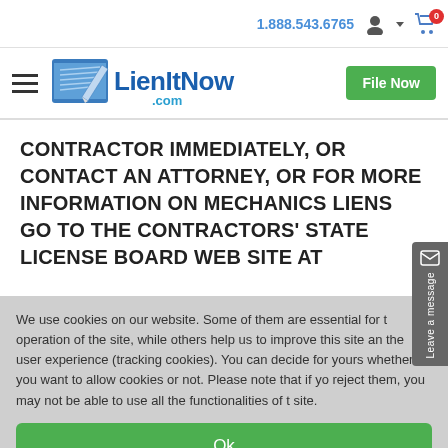1.888.543.6765
[Figure (logo): LienItNow.com logo with blue and silver design]
CONTRACTOR IMMEDIATELY, OR CONTACT AN ATTORNEY, OR FOR MORE INFORMATION ON MECHANICS LIENS GO TO THE CONTRACTORS' STATE LICENSE BOARD WEB SITE AT
We use cookies on our website. Some of them are essential for the operation of the site, while others help us to improve this site and the user experience (tracking cookies). You can decide for yourself whether you want to allow cookies or not. Please note that if you reject them, you may not be able to use all the functionalities of the site.
Ok
Decline